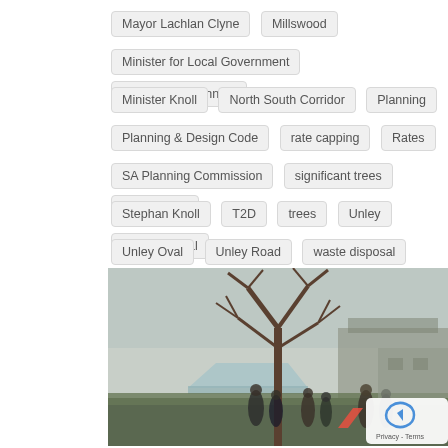Mayor Lachlan Clyne
Millswood
Minister for Local Government
Minister for Planning
Minister Knoll
North South Corridor
Planning
Planning & Design Code
rate capping
Rates
SA Planning Commission
significant trees
South Road
Stephan Knoll
T2D
trees
Unley
Unley Central
Unley Oval
Unley Road
waste disposal
[Figure (photo): Outdoor community event with people gathered around a large bare tree in a park or school setting, with marquee tents and low buildings visible in the background.]